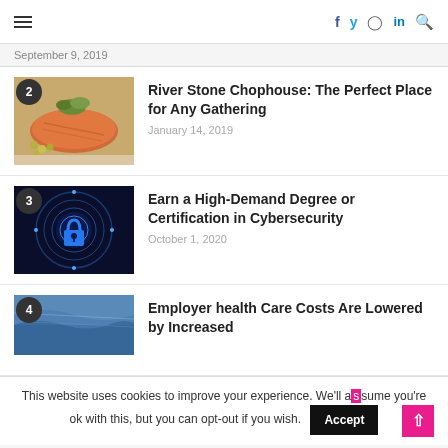≡  f  tw  in  🔍
September 9, 2019
2 River Stone Chophouse: The Perfect Place for Any Gathering — January 14, 2019
3 Earn a High-Demand Degree or Certification in Cybersecurity — October 1, 2020
4 Employer health Care Costs Are Lowered by Increased
This website uses cookies to improve your experience. We'll assume you're ok with this, but you can opt-out if you wish.  Accept